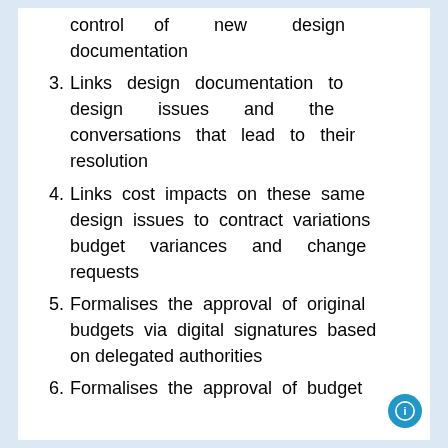control of new design documentation
3. Links design documentation to design issues and the conversations that lead to their resolution
4. Links cost impacts on these same design issues to contract variations budget variances and change requests
5. Formalises the approval of original budgets via digital signatures based on delegated authorities
6. Formalises the approval of budget